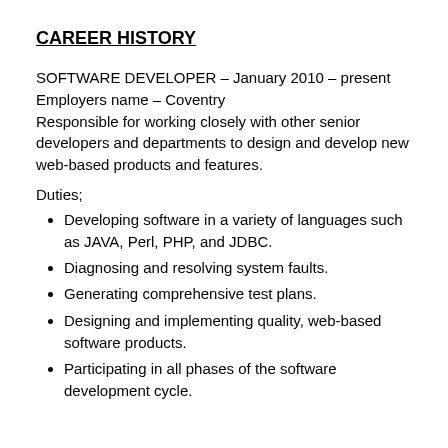CAREER HISTORY
SOFTWARE DEVELOPER – January 2010 – present
Employers name – Coventry
Responsible for working closely with other senior developers and departments to design and develop new web-based products and features.
Duties;
Developing software in a variety of languages such as JAVA, Perl, PHP, and JDBC.
Diagnosing and resolving system faults.
Generating comprehensive test plans.
Designing and implementing quality, web-based software products.
Participating in all phases of the software development cycle.